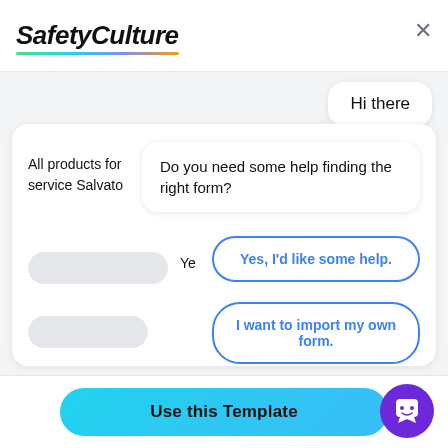[Figure (logo): SafetyCulture logo in bold italic with rainbow underline]
Hi there
Do you need some help finding the right form?
All products for service Salvato
Ye
Yes, I'd like some help.
I want to import my own form.
N/A
No, I'm good. Thanks!
Use this Template